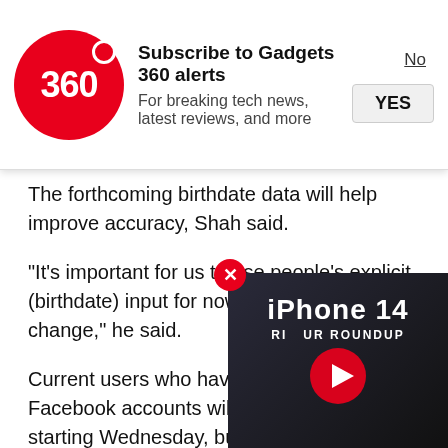[Figure (screenshot): Gadgets 360 push notification banner with logo, title 'Subscribe to Gadgets 360 alerts', subtitle 'For breaking tech news, latest reviews, and more', with No and YES buttons]
The forthcoming birthdate data will help improve accuracy, Shah said.
"It's important for us to use people's explicit (birthdate) input for now, but that might change," he said.
Current users who have not linked their Facebook accounts will be able to add one starting Wednesday, but the company weighed whether it would be too intrusive to require it, Shah said. Instagram knows whether some of those users are adults, for instance, because it asks them to say so before looking at profiles of alcohol and sexually
[Figure (screenshot): iPhone 14 Review Roundup video overlay with play button]